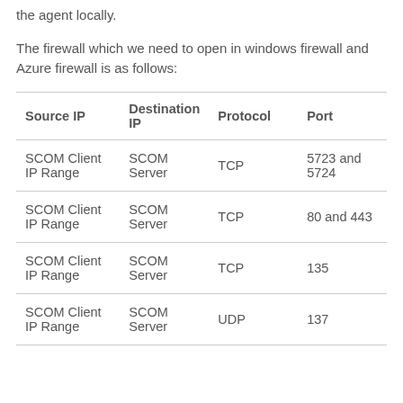the agent locally.
The firewall which we need to open in windows firewall and Azure firewall is as follows:
| Source IP | Destination IP | Protocol | Port |
| --- | --- | --- | --- |
| SCOM Client IP Range | SCOM Server | TCP | 5723 and 5724 |
| SCOM Client IP Range | SCOM Server | TCP | 80 and 443 |
| SCOM Client IP Range | SCOM Server | TCP | 135 |
| SCOM Client IP Range | SCOM Server | UDP | 137 |